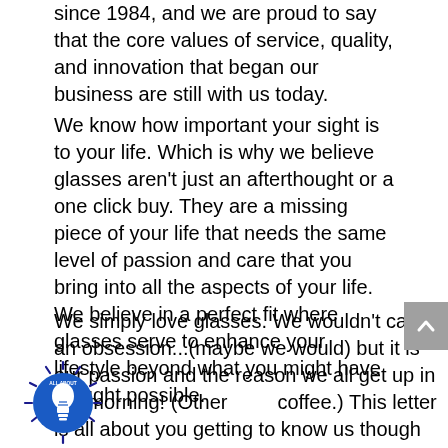since 1984, and we are proud to say that the core values of service, quality, and innovation that began our business are still with us today.
We know how important your sight is to your life. Which is why we believe glasses aren't just an afterthought or a one click buy. They are a missing piece of your life that needs the same level of passion and care that you bring into all the aspects of your life. We believe in a perfect fit where glasses serve to enhance your lifestyle beyond what you might have thought possible.
We simply love glasses. We wouldn't call it an obsession...(maybe we would) but it is our passion and the reason we all get up in the morning! (Other coffee.) This letter is all about you getting to know us though and why we love what we do, so in spirit of sharing, here are a few of our favorite things about Empire Optical.
[Figure (logo): All About Blue Light logo — blue circular badge with light bulb, radiating dashes around it, text reads ALL ABOUT BLUE LIGHT]